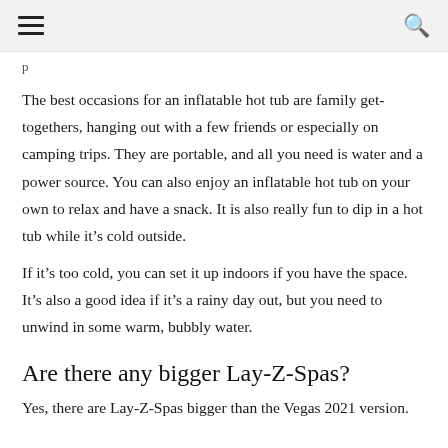☰  🔍
p
The best occasions for an inflatable hot tub are family get-togethers, hanging out with a few friends or especially on camping trips. They are portable, and all you need is water and a power source. You can also enjoy an inflatable hot tub on your own to relax and have a snack. It is also really fun to dip in a hot tub while it's cold outside.
If it's too cold, you can set it up indoors if you have the space. It's also a good idea if it's a rainy day out, but you need to unwind in some warm, bubbly water.
Are there any bigger Lay-Z-Spas?
Yes, there are Lay-Z-Spas bigger than the Vegas 2021 version.